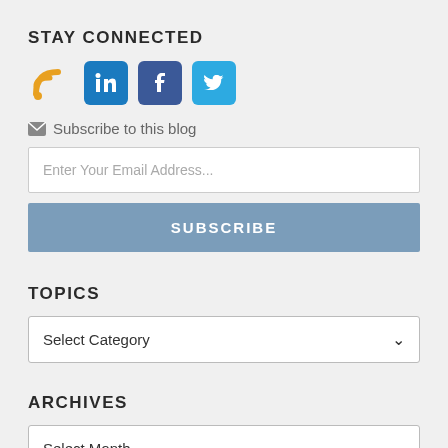STAY CONNECTED
[Figure (illustration): Social media icons: RSS feed (orange), LinkedIn (blue), Facebook (dark blue), Twitter (light blue)]
Subscribe to this blog
Enter Your Email Address...
SUBSCRIBE
TOPICS
Select Category
ARCHIVES
Select Month